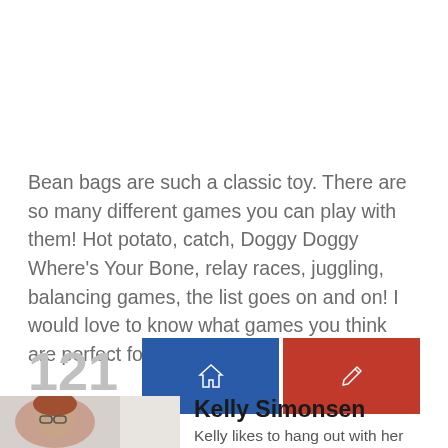Bean bags are such a classic toy. There are so many different games you can play with them! Hot potato, catch, Doggy Doggy Where's Your Bone, relay races, juggling, balancing games, the list goes on and on! I would love to know what games you think are perfect for bean bags!
[Figure (infographic): Share count showing 121 SHARES with a blue home button and red edit/pencil button]
[Figure (photo): Circular profile photo of Kelly Simonsen, a woman with glasses and reddish-brown hair]
Kelly Simonsen
Kelly likes to hang out with her family, run and read. You can follow along